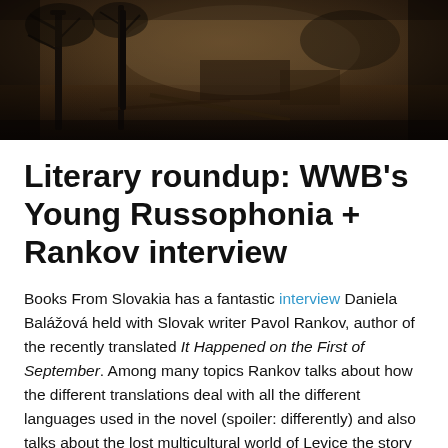[Figure (photo): Sepia-toned photograph of an outdoor urban scene with trees and structures in the background]
Literary roundup: WWB's Young Russophonia + Rankov interview
Books From Slovakia has a fantastic interview Daniela Balážová held with Slovak writer Pavol Rankov, author of the recently translated It Happened on the First of September. Among many topics Rankov talks about how the different translations deal with all the different languages used in the novel (spoiler: differently) and also talks about the lost multicultural world of Levice the story originates from.